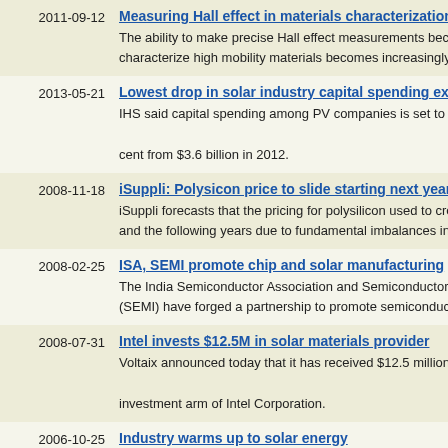2011-09-12 | Measuring Hall effect in materials characterization | The ability to make precise Hall effect measurements becomes i... characterize high mobility materials becomes increasingly critica...
2013-05-21 | Lowest drop in solar industry capital spending expected | IHS said capital spending among PV companies is set to drop to... cent from $3.6 billion in 2012.
2008-11-18 | iSuppli: Polysicon price to slide starting next year | iSuppli forecasts that the pricing for polysilicon used to create PV... and the following years due to fundamental imbalances in the so...
2008-02-25 | ISA, SEMI promote chip and solar manufacturing | The India Semiconductor Association and Semiconductor Equipm... (SEMI) have forged a partnership to promote semiconductor and...
2008-07-31 | Intel invests $12.5M in solar materials provider | Voltaix announced today that it has received $12.5 million in fina... investment arm of Intel Corporation.
2006-10-25 | Industry warms up to solar energy | Silicon Valley firms have set eyes and interest on solar energy, w... plans to run its headquarters on solar energy and other firms see... energy.
2008-07-25 | Industry confab sheds light on future of organic electron... | The Organic Semiconductor Conference this year (OSC-08) will...